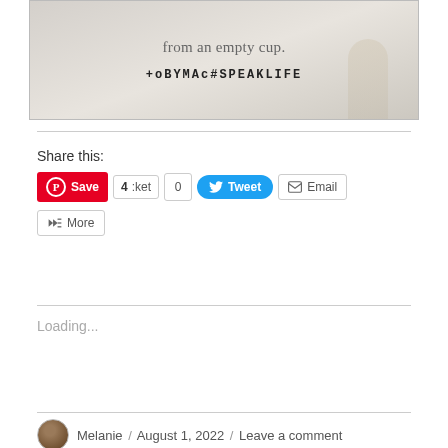[Figure (photo): Inspirational image with text 'from an empty cup.' and 'TobyMac#SpeakLife' written in handwriting style on a light textured background]
Share this:
Save | 4 | :ket | 0 | Tweet | Email
More
Loading...
Melanie / August 1, 2022 / Leave a comment